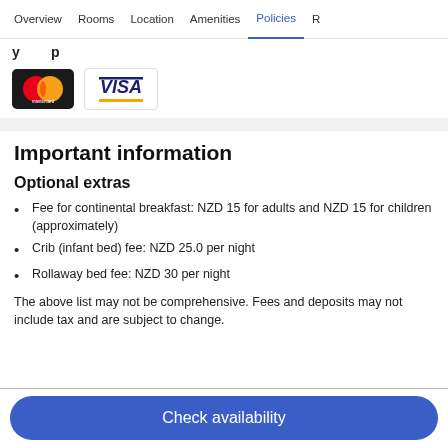Overview  Rooms  Location  Amenities  Policies  R
[Figure (logo): Mastercard logo — two overlapping circles (red and orange) on black background with 'mastercard' text]
[Figure (logo): Visa logo — VISA text in blue with yellow underline bar]
Important information
Optional extras
Fee for continental breakfast: NZD 15 for adults and NZD 15 for children (approximately)
Crib (infant bed) fee: NZD 25.0 per night
Rollaway bed fee: NZD 30 per night
The above list may not be comprehensive. Fees and deposits may not include tax and are subject to change.
Check availability